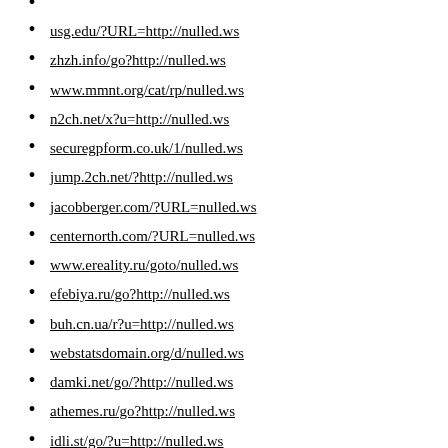usg.edu/?URL=http://nulled.ws
zhzh.info/go?http://nulled.ws
www.mmnt.org/cat/rp/nulled.ws
n2ch.net/x?u=http://nulled.ws
securegpform.co.uk/1/nulled.ws
jump.2ch.net/?http://nulled.ws
jacobberger.com/?URL=nulled.ws
centernorth.com/?URL=nulled.ws
www.ereality.ru/goto/nulled.ws
efebiya.ru/go?http://nulled.ws
buh.cn.ua/r?u=http://nulled.ws
webstatsdomain.org/d/nulled.ws
damki.net/go/?http://nulled.ws
athemes.ru/go?http://nulled.ws
idli.st/go/?u=http://nulled.ws
sc.devb.gov.hk/TuniS/nulled.ws
nigc.gov/?URL=http://nulled.ws
anonim.co.ro/?http://nulled.ws